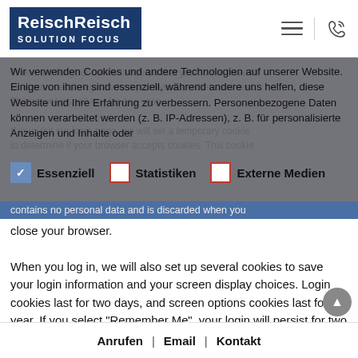[Figure (logo): ReischReisch Solution Focus logo - white text on dark blue background]
Wir verwenden Cookies und andere Technologien auf unserer Website. Einige von ihnen sind essenziell, während andere uns helfen, diese Website und Ihre Erfahrung zu verbessern. Personenbezogene Daten können verarbeitet werden (z. B. IP-Adressen), z. B. für personalisierte Anzeigen und Inhalte oder
Essenziell   Statistiken   Externe Medien
contains no personal data and is discarded when you close your browser.
When you log in, we will also set up several cookies to save your login information and your screen display choices. Login cookies last for two days, and screen options cookies last for a year. If you select "Remember Me", your login will persist for two weeks. If you log out of
Anrufen | Email | Kontakt